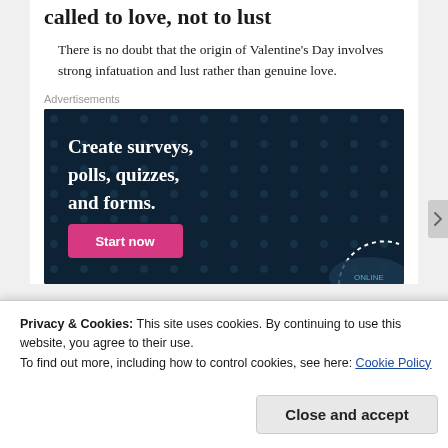called to love, not to lust
There is no doubt that the origin of Valentine's Day involves strong infatuation and lust rather than genuine love.
Advertisements
[Figure (screenshot): Advertisement banner with dark navy background and dot pattern. Text reads: 'Create surveys, polls, quizzes, and forms.' with a pink 'Start now' button and a partially visible circular badge in the lower right.]
Privacy & Cookies: This site uses cookies. By continuing to use this website, you agree to their use.
To find out more, including how to control cookies, see here: Cookie Policy
Close and accept